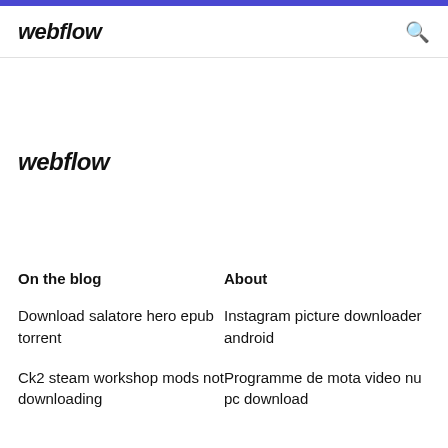webflow
webflow
On the blog
About
Download salatore hero epub torrent
Instagram picture downloader android
Ck2 steam workshop mods not downloading
Programme de mota video nu pc download